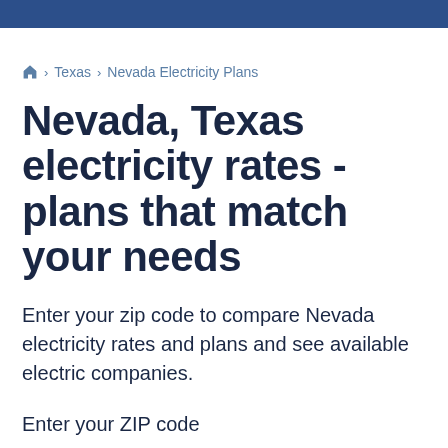🏠 › Texas › Nevada Electricity Plans
Nevada, Texas electricity rates - plans that match your needs
Enter your zip code to compare Nevada electricity rates and plans and see available electric companies.
Enter your ZIP code